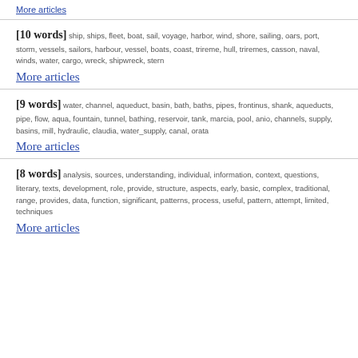[10 words] ship, ships, fleet, boat, sail, voyage, harbor, wind, shore, sailing, oars, port, storm, vessels, sailors, harbour, vessel, boats, coast, trireme, hull, triremes, casson, naval, winds, water, cargo, wreck, shipwreck, stern
More articles
[9 words] water, channel, aqueduct, basin, bath, baths, pipes, frontinus, shank, aqueducts, pipe, flow, aqua, fountain, tunnel, bathing, reservoir, tank, marcia, pool, anio, channels, supply, basins, mill, hydraulic, claudia, water_supply, canal, orata
More articles
[8 words] analysis, sources, understanding, individual, information, context, questions, literary, texts, development, role, provide, structure, aspects, early, basic, complex, traditional, range, provides, data, function, significant, patterns, process, useful, pattern, attempt, limited, techniques
More articles